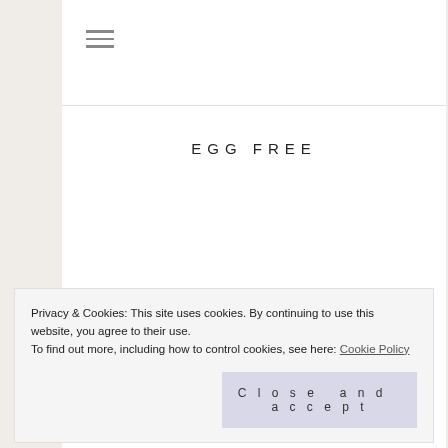☰ (hamburger menu icon)
EGG FREE
WHEAT FREE
Privacy & Cookies: This site uses cookies. By continuing to use this website, you agree to their use.
To find out more, including how to control cookies, see here: Cookie Policy
Close and accept
GLUTEN FREE